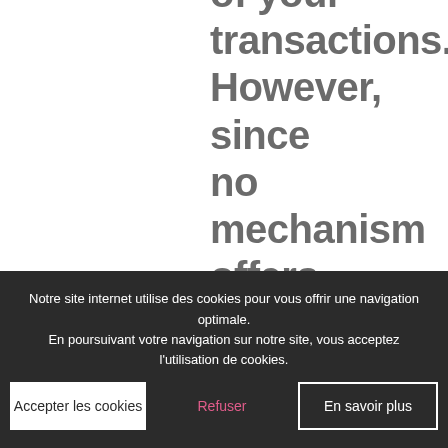confidentiality of your transactions. However, since no mechanism offers maximum security, there is always a risk involved when using the Internet to transmit personal information
Notre site internet utilise des cookies pour vous offrir une navigation optimale.
En poursuivant votre navigation sur notre site, vous acceptez l'utilisation de cookies.
Accepter les cookies
Refuser
En savoir plus